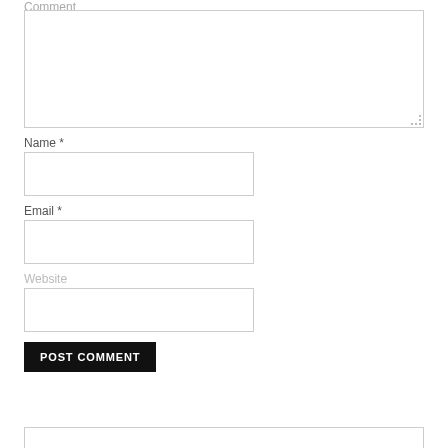Comment
[Figure (screenshot): Large comment textarea input box]
Name *
[Figure (screenshot): Name text input box]
Email *
[Figure (screenshot): Email text input box]
Website
[Figure (screenshot): Website text input box]
POST COMMENT
[Figure (screenshot): Bottom partial input box]